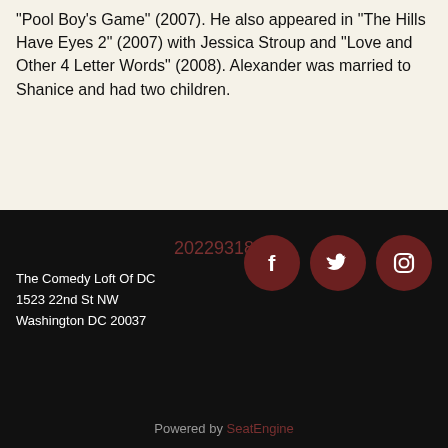'Pool Boy's Game' (2007). He also appeared in 'The Hills Have Eyes 2' (2007) with Jessica Stroup and "Love and Other 4 Letter Words" (2008). Alexander was married to Shanice and had two children.
2022931887
The Comedy Loft Of DC
1523 22nd St NW
Washington DC 20037
[Figure (logo): Facebook icon - white F on dark red circle]
[Figure (logo): Twitter icon - white bird on dark red circle]
[Figure (logo): Instagram icon - white camera on dark red circle]
Powered by SeatEngine